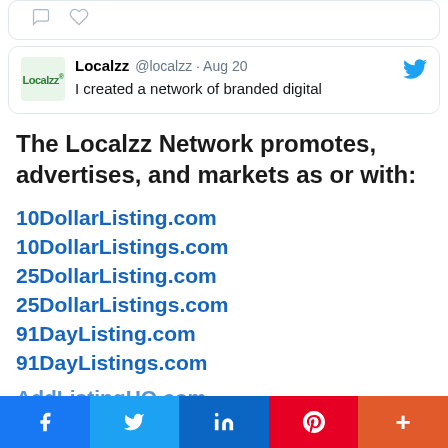[Figure (screenshot): Partial top of a tweet card showing comment and like icons]
[Figure (screenshot): Tweet from Localzz @localzz Aug 20 with Twitter bird icon and text: I created a network of branded digital]
The Localzz Network promotes, advertises, and markets as or with:
10DollarListing.com
10DollarListings.com
25DollarListing.com
25DollarListings.com
91DayListing.com
91DayListings.com
AddListingHQ.com
[Figure (infographic): Social sharing bar with Facebook, Twitter, LinkedIn, Pinterest, and More buttons]